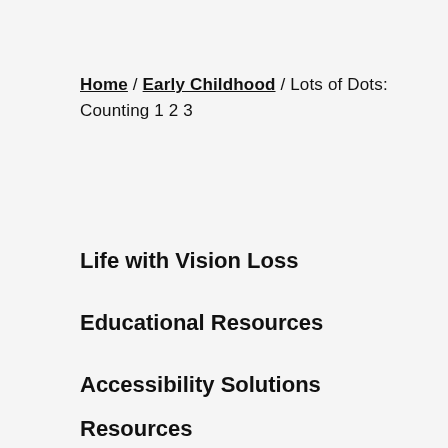Home / Early Childhood / Lots of Dots: Counting 1 2 3
Life with Vision Loss
Educational Resources
Accessibility Solutions
Resources